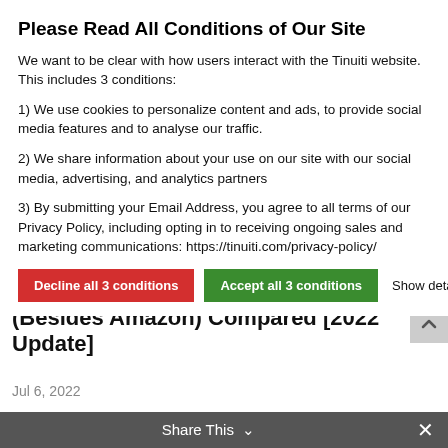Please Read All Conditions of Our Site
We want to be clear with how users interact with the Tinuiti website. This includes 3 conditions:
1) We use cookies to personalize content and ads, to provide social media features and to analyse our traffic.
2) We share information about your use on our site with our social media, advertising, and analytics partners
3) By submitting your Email Address, you agree to all terms of our Privacy Policy, including opting in to receiving ongoing sales and marketing communications: https://tinuiti.com/privacy-policy/
Decline all 3 conditions   Accept all 3 conditions   Show details ∨
(Besides Amazon) Compared [2022 Update]
Jul 6, 2022
[Figure (photo): Partial view of a smiling woman, article hero image]
Share This ∨